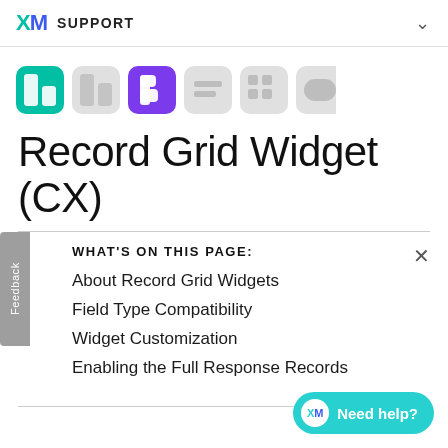XM SUPPORT
[Figure (logo): Row of colorful dashboard/widget icon logos in teal, gray, and purple]
Record Grid Widget (CX)
WHAT'S ON THIS PAGE:
About Record Grid Widgets
Field Type Compatibility
Widget Customization
Enabling the Full Response Records